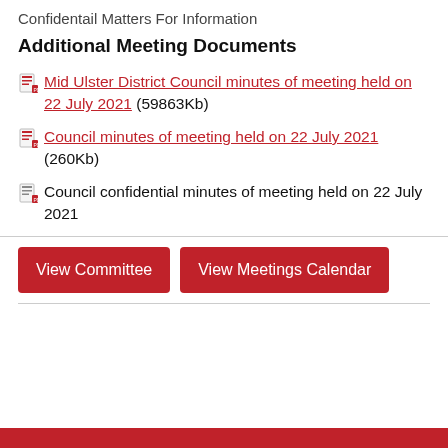Confidentail Matters For Information
Additional Meeting Documents
Mid Ulster District Council minutes of meeting held on 22 July 2021 (59863Kb)
Council minutes of meeting held on 22 July 2021 (260Kb)
Council confidential minutes of meeting held on 22 July 2021
View Committee
View Meetings Calendar